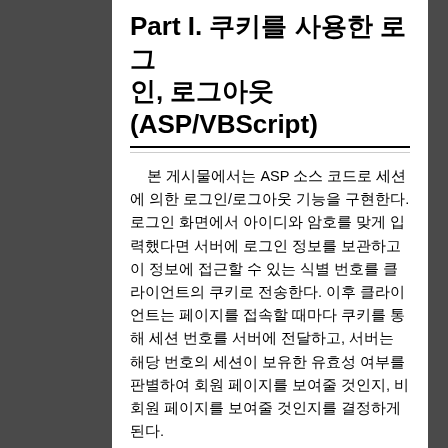Part I. 쿠키를 사용한 로그인, 로그아웃 (ASP/VBScript)
본 게시물에서는 ASP 소스 코드로 세션에 의한 로그인/로그아웃 기능을 구현한다. 로그인 화면에서 아이디와 암호를 맞게 입력했다면 서버에 로그인 정보를 보관하고 이 정보에 접근할 수 있는 식별 번호를 클라이언트의 쿠키로 전송한다. 이후 클라이언트는 페이지를 접속할 때마다 쿠키를 통해 세션 번호를 서버에 전달하고, 서버는 해당 번호의 세션이 보유한 유효성 여부를 판별하여 회원 페이지를 보여줄 것인지, 비회원 페이지를 보여줄 것인지를 결정하게 된다.
step1.asp - 로그인 화면